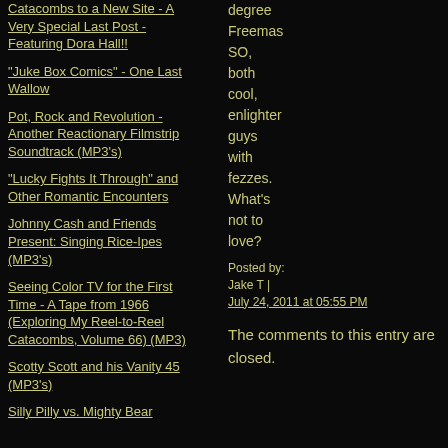Catacombs to a New Site - A Very Special Last Post - Featuring Dora Hall!!
"Juke Box Comics" - One Last Wallow
Pot, Rock and Revolution - Another Reactionary Filmstrip Soundtrack (MP3's)
"Lucky Fights It Through" and Other Romantic Encounters
Johnny Cash and Friends Present: Singing Rice-Ipes (MP3's)
Seeing Color TV for the First Time - A Tape from 1966 (Exploring My Reel-to-Reel Catacombs, Volume 66) (MP3)
Scotty Scott and his Vanity 45 (MP3's)
Silly Pilly vs. Mighty Bear
degree Freemas SO, both cool, enlighter guys with fezzes. What's not to love?
Posted by: Jake T | July 24, 2011 at 05:55 PM
The comments to this entry are closed.